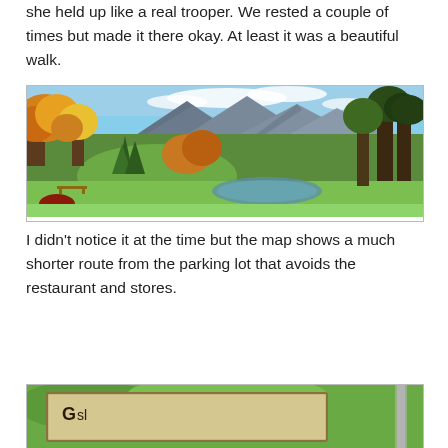she held up like a real trooper. We rested a couple of times but made it there okay. At least it was a beautiful walk.
[Figure (photo): Autumn landscape with colorful trees (yellow, orange, green), a small pond reflecting the surroundings, green grass meadow, and mountains with blue sky in the background.]
I didn't notice it at the time but the map shows a much shorter route from the parking lot that avoids the restaurant and stores.
[Figure (photo): Partial view of a sign in a park or nature area, showing text beginning with 'G' or 'O', surrounded by green foliage.]